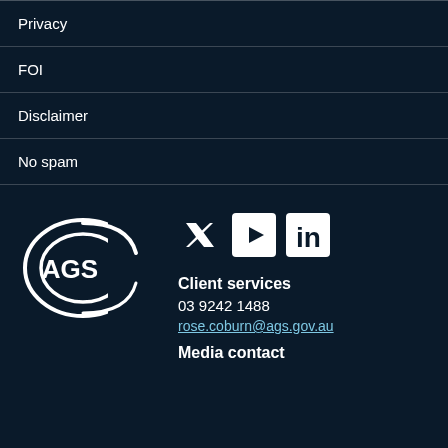Privacy
FOI
Disclaimer
No spam
[Figure (logo): AGS (Australian Government Solicitor) logo — white ellipse with C-shape arc and text AGS on dark background]
[Figure (infographic): Social media icons: Twitter bird, YouTube play button rectangle, LinkedIn in-square]
Client services
03 9242 1488
rose.coburn@ags.gov.au
Media contact